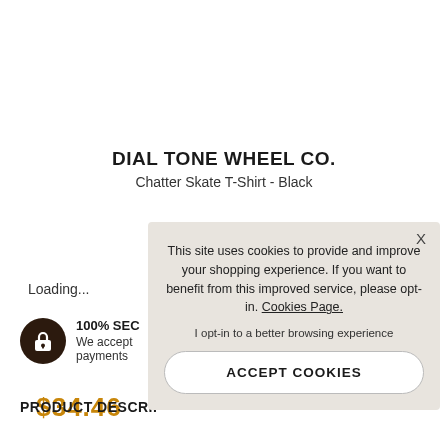DIAL TONE WHEEL CO.
Chatter Skate T-Shirt - Black
$34.46
Loading...
100% SEC
We accept payments
PRODUCT DESCRIP
This site uses cookies to provide and improve your shopping experience. If you want to benefit from this improved service, please opt-in. Cookies Page.
I opt-in to a better browsing experience
ACCEPT COOKIES